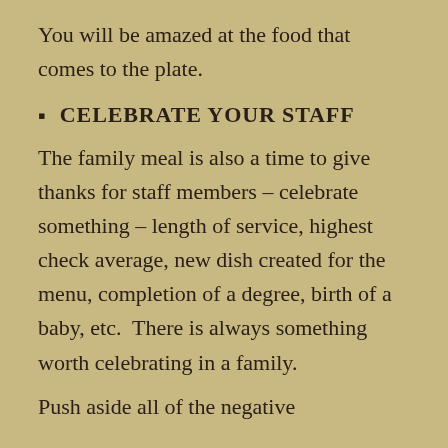You will be amazed at the food that comes to the plate.
CELEBRATE YOUR STAFF
The family meal is also a time to give thanks for staff members – celebrate something – length of service, highest check average, new dish created for the menu, completion of a degree, birth of a baby, etc.  There is always something worth celebrating in a family.
Push aside all of the negative